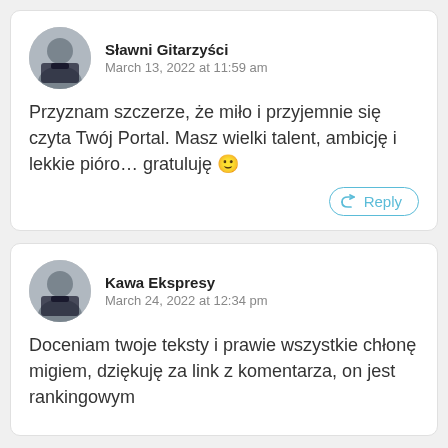Sławni Gitarzyści
March 13, 2022 at 11:59 am
Przyznam szczerze, że miło i przyjemnie się czyta Twój Portal. Masz wielki talent, ambicję i lekkie pióro… gratuluję 🙂
Reply
Kawa Ekspresy
March 24, 2022 at 12:34 pm
Doceniam twoje teksty i prawie wszystkie chłonę migiem, dziękuję za link z komentarza, on jest rankingowym